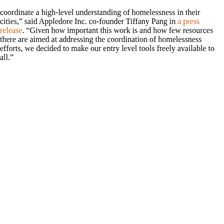coordinate a high-level understanding of homelessness in their cities,” said Appledore Inc. co-founder Tiffany Pang in a press release. “Given how important this work is and how few resources there are aimed at addressing the coordination of homelessness efforts, we decided to make our entry level tools freely available to all.”
By clicking “Accept All Cookies”, you agree to the storing of cookies on your device to enhance site navigation, analyze site usage, and assist in our marketing efforts.
Accept All Cookies
Reject All
Cookies Settings